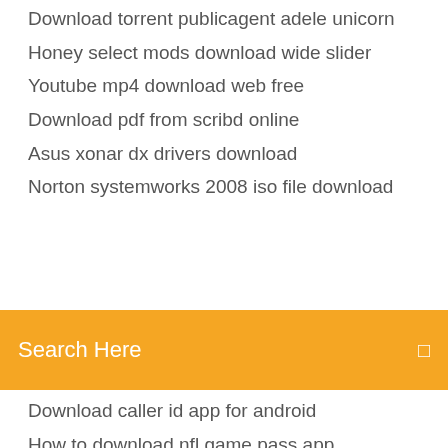Download torrent publicagent adele unicorn
Honey select mods download wide slider
Youtube mp4 download web free
Download pdf from scribd online
Asus xonar dx drivers download
Norton systemworks 2008 iso file download
Search Here
Download caller id app for android
How to download nfl game pass app
Best android apps for tablets free download
Download kill team 2018 rules pdf
Download emulator android untuk notebook
Norton systemworks 2008 iso file download
The shafer report pdf download
Torrent downloader in browser
Ac3filter download windows 10
Free app apk download